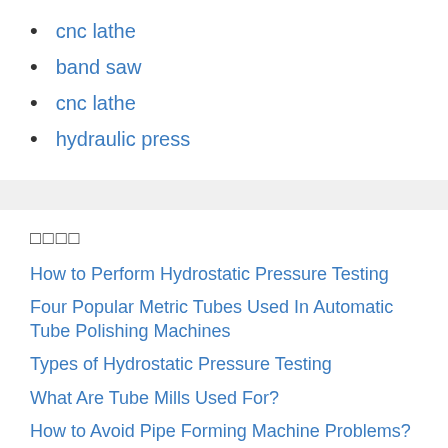cnc lathe
band saw
cnc lathe
hydraulic press
□□□□
How to Perform Hydrostatic Pressure Testing
Four Popular Metric Tubes Used In Automatic Tube Polishing Machines
Types of Hydrostatic Pressure Testing
What Are Tube Mills Used For?
How to Avoid Pipe Forming Machine Problems?